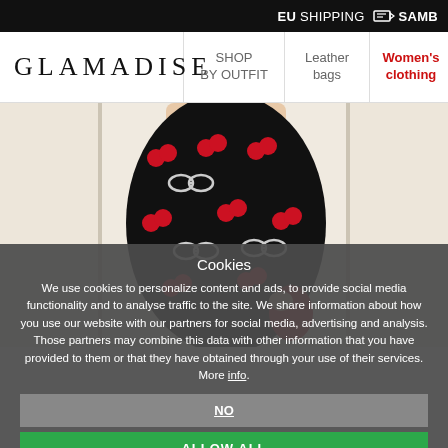EU SHIPPING  SAMB
[Figure (screenshot): GLAMADISE logo and navigation bar with items: SHOP BY OUTFIT, Leather bags, Women's clothing (active/red), Wo... Sh...]
[Figure (photo): Woman wearing a black dress with red cherry/sunglasses print, holding a red bag, standing against white door panels]
Cookies
We use cookies to personalize content and ads, to provide social media functionality and to analyse traffic to the site. We share information about how you use our website with our partners for social media, advertising and analysis. Those partners may combine this data with other information that you have provided to them or that they have obtained through your use of their services. More info.
NO
ALLOW ALL